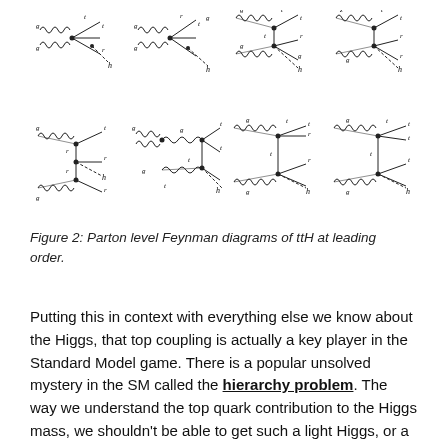[Figure (schematic): Two rows of Feynman diagrams showing parton level ttH production at leading order. Each diagram shows gluon lines (curly), top quark propagators, and Higgs boson (h) as external line, with internal vertices marked by dots. Labels include g, t, r, h on various lines.]
Figure 2: Parton level Feynman diagrams of ttH at leading order.
Putting this in context with everything else we know about the Higgs, that top coupling is actually a key player in the Standard Model game. There is a popular unsolved mystery in the SM called the hierarchy problem. The way we understand the top quark contribution to the Higgs mass, we shouldn't be able to get such a light Higgs, or a stable vacuum. Additionally, electroweak baryogenesis reveals that there are things about the top